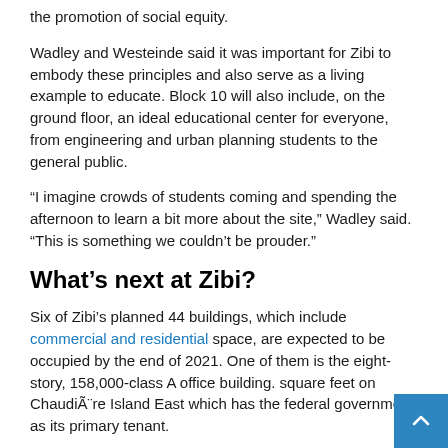the promotion of social equity.
Wadley and Westeinde said it was important for Zibi to embody these principles and also serve as a living example to educate. Block 10 will also include, on the ground floor, an ideal educational center for everyone, from engineering and urban planning students to the general public.
“I imagine crowds of students coming and spending the afternoon to learn a bit more about the site,” Wadley said. “This is something we couldn’t be prouder.”
What’s next at Zibi?
Six of Zibi’s planned 44 buildings, which include commercial and residential space, are expected to be occupied by the end of 2021. One of them is the eight-story, 158,000-class A office building. square feet on ChaudiÃ¨re Island East which has the federal government as its primary tenant.